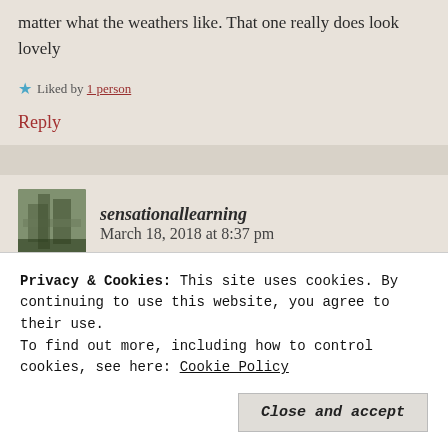matter what the weathers like. That one really does look lovely
★ Liked by 1 person
Reply
sensationallearning   March 18, 2018 at 8:37 pm
Yes indeed! We love it 😄 x
Privacy & Cookies: This site uses cookies. By continuing to use this website, you agree to their use.
To find out more, including how to control cookies, see here: Cookie Policy